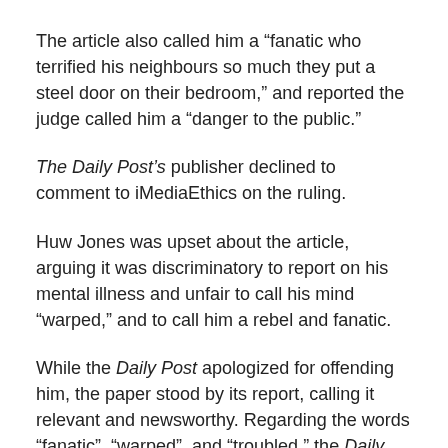The article also called him a “fanatic who terrified his neighbours so much they put a steel door on their bedroom,” and reported the judge called him a “danger to the public.”
The Daily Post’s publisher declined to comment to iMediaEthics on the ruling.
Huw Jones was upset about the article, arguing it was discriminatory to report on his mental illness and unfair to call his mind “warped,” and to call him a rebel and fanatic.
While the Daily Post apologized for offending him, the paper stood by its report, calling it relevant and newsworthy. Regarding the words “fanatic”, “warped”, and “troubled,” the Daily Post defended their usage based on their definition and editorial use. The paper offered to apologize in print to resolve the matter, but Huw Jones